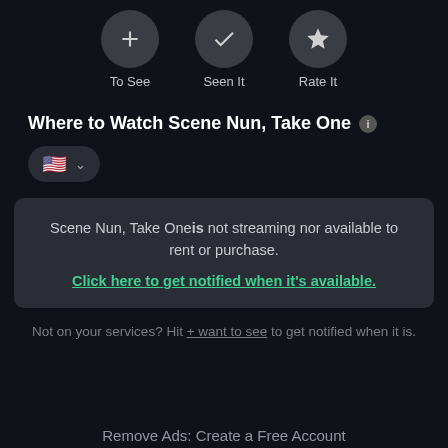[Figure (screenshot): Three circular action buttons: To See (plus icon), Seen It (checkmark icon), Rate It (star icon)]
Where to Watch Scene Nun, Take One
[Figure (infographic): Country selector pill showing US flag and chevron dropdown]
Scene Nun, Take Oneis not streaming nor available to rent or purchase. Click here to get notified when it's available.
Not on your services? Hit + want to see to get notified when it is.
Remove Ads: Create a Free Account